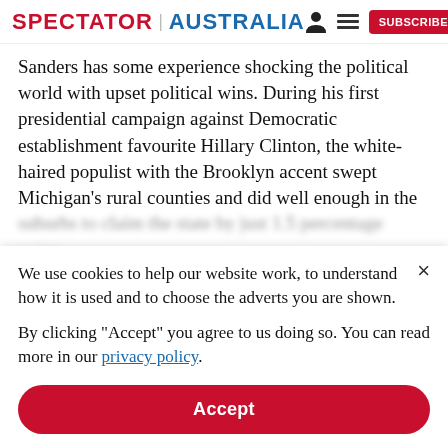SPECTATOR | AUSTRALIA
Sanders has some experience shocking the political world with upset political wins. During his first presidential campaign against Democratic establishment favourite Hillary Clinton, the white-haired populist with the Brooklyn accent swept Michigan's rural counties and did well enough in the suburbs to claim the state by just 1.5 percentage points
We use cookies to help our website work, to understand how it is used and to choose the adverts you are shown.
By clicking "Accept" you agree to us doing so. You can read more in our privacy policy.
Accept